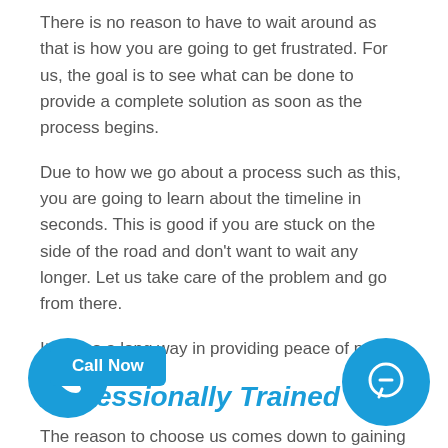There is no reason to have to wait around as that is how you are going to get frustrated. For us, the goal is to see what can be done to provide a complete solution as soon as the process begins.
Due to how we go about a process such as this, you are going to learn about the timeline in seconds. This is good if you are stuck on the side of the road and don't want to wait any longer. Let us take care of the problem and go from there.
It will go a long way in providing peace of mind.
Professionally Trained
The reason to choose us comes down to gaining access to a professional locksmith.
are acclaimed for the work we do and goes a long way for your problem. Once the call comes in, we are going to have a trustworthy